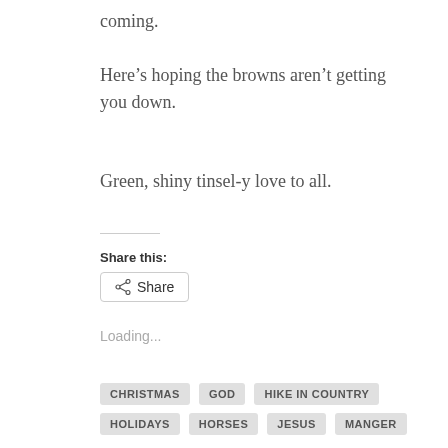coming.
Here’s hoping the browns aren’t getting you down.
Green, shiny tinsel-y love to all.
Share this:
Share
Loading...
CHRISTMAS
GOD
HIKE IN COUNTRY
HOLIDAYS
HORSES
JESUS
MANGER